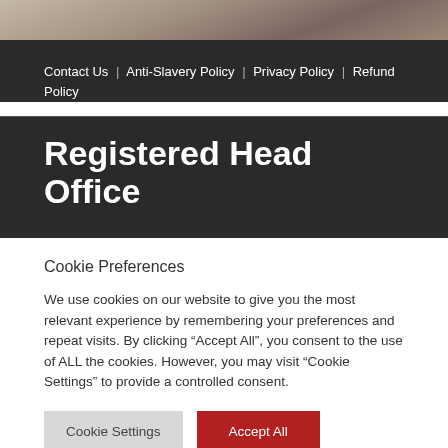[Figure (photo): Partial photo strip of people in background, blurred]
Contact Us | Anti-Slavery Policy | Privacy Policy | Refund Policy
Registered Head Office
Cookie Preferences
We use cookies on our website to give you the most relevant experience by remembering your preferences and repeat visits. By clicking “Accept All”, you consent to the use of ALL the cookies. However, you may visit “Cookie Settings” to provide a controlled consent.
Cookie Settings | Accept All